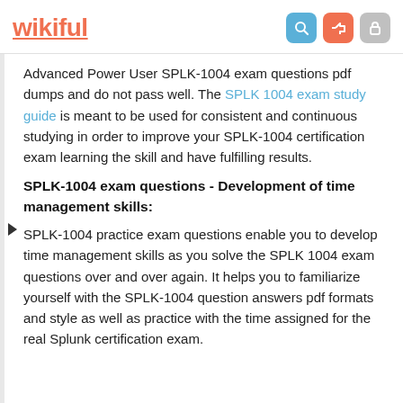wikiful
Advanced Power User SPLK-1004 exam questions pdf dumps and do not pass well. The SPLK 1004 exam study guide is meant to be used for consistent and continuous studying in order to improve your SPLK-1004 certification exam learning the skill and have fulfilling results.
SPLK-1004 exam questions - Development of time management skills:
SPLK-1004 practice exam questions enable you to develop time management skills as you solve the SPLK 1004 exam questions over and over again. It helps you to familiarize yourself with the SPLK-1004 question answers pdf formats and style as well as practice with the time assigned for the real Splunk certification exam.